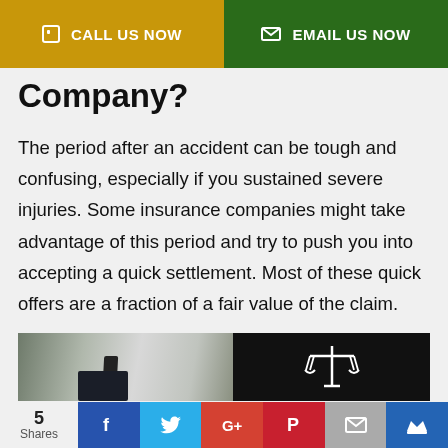CALL US NOW  |  EMAIL US NOW
Company?
The period after an accident can be tough and confusing, especially if you sustained severe injuries. Some insurance companies might take advantage of this period and try to push you into accepting a quick settlement. Most of these quick offers are a fraction of a fair value of the claim.
[Figure (photo): Split image: businessman in suit on left half, scales of justice icon on black background on right half]
5 Shares | Facebook | Twitter | Google+ | Pinterest | Email | Crown